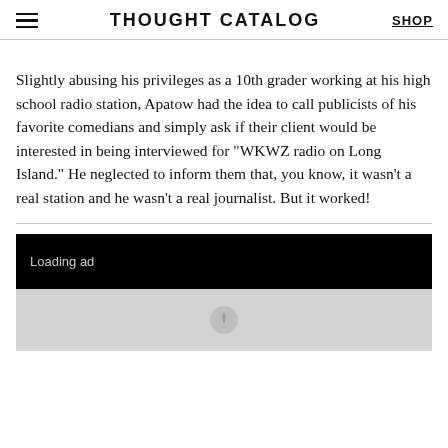THOUGHT CATALOG
Slightly abusing his privileges as a 10th grader working at his high school radio station, Apatow had the idea to call publicists of his favorite comedians and simply ask if their client would be interested in being interviewed for “WKWZ radio on Long Island.” He neglected to inform them that, you know, it wasn’t a real station and he wasn’t a real journalist. But it worked!
[Figure (other): Advertisement placeholder with black loading bar and gray content area]